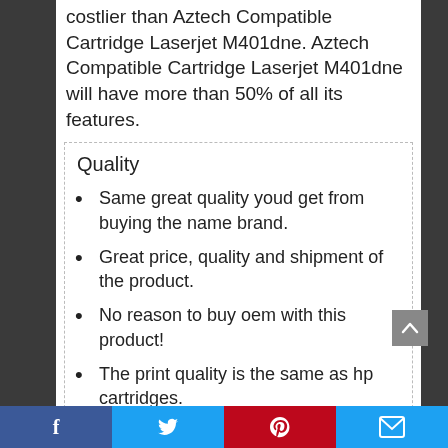costlier than Aztech Compatible Cartridge Laserjet M401dne. Aztech Compatible Cartridge Laserjet M401dne will have more than 50% of all its features.
Quality
Same great quality youd get from buying the name brand.
Great price, quality and shipment of the product.
No reason to buy oem with this product!
The print quality is the same as hp cartridges.
Social share bar: Facebook, Twitter, Pinterest, Email